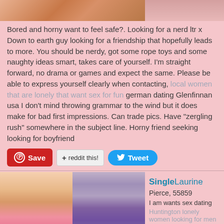[Figure (photo): Partial top image strip showing a person, cropped at top of frame]
Bored and horny want to feel safe?. Looking for a nerd ltr x Down to earth guy looking for a friendship that hopefully leads to more. You should be nerdy, got some rope toys and some naughty ideas smart, takes care of yourself. I'm straight forward, no drama or games and expect the same. Please be able to express yourself clearly when contacting, local women that are lonely that want sex for fun german dating Glenfinnan usa I don't mind throwing grammar to the wind but it does make for bad first impressions. Can trade pics. Have "zergling rush" somewhere in the subject line. Horny friend seeking looking for boyfriend
[Figure (screenshot): Save (Pinterest), reddit this!, and Tweet buttons]
[Figure (photo): Two photos of a person side by side at the bottom left]
SingleLaurine
Pierce, 55859
I am wants sex dating
Huntington lonely women looking for men